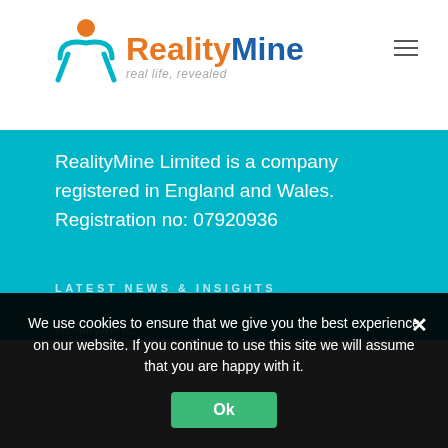[Figure (logo): RealityMine logo with orange and blue figure icon, 'RealityMine' brand name in orange and blue, tagline 'real life, revealed' in grey]
RealityMine Limited is a company registered in England and Wales. Registration no: 07920936
LATEST NEWS & INSIGHTS
We use cookies to ensure that we give you the best experience on our website. If you continue to use this site we will assume that you are happy with it.
Ok